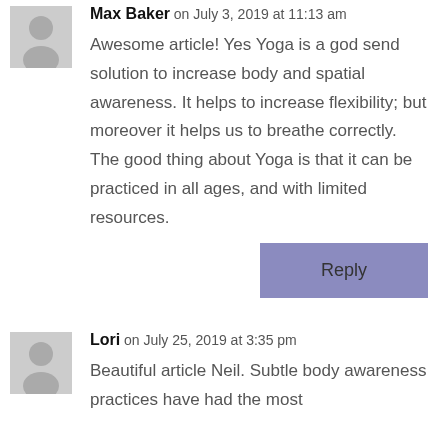Max Baker on July 3, 2019 at 11:13 am
Awesome article! Yes Yoga is a god send solution to increase body and spatial awareness. It helps to increase flexibility; but moreover it helps us to breathe correctly.
The good thing about Yoga is that it can be practiced in all ages, and with limited resources.
Reply
Lori on July 25, 2019 at 3:35 pm
Beautiful article Neil. Subtle body awareness practices have had the most